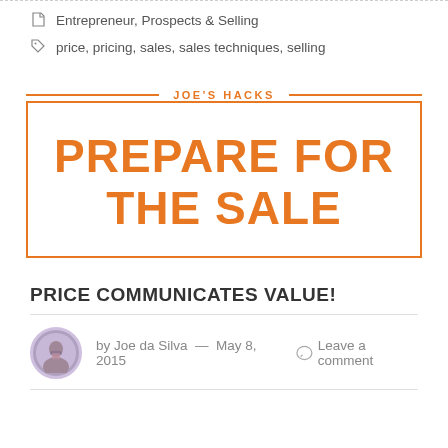Entrepreneur, Prospects & Selling
price, pricing, sales, sales techniques, selling
[Figure (other): Joe's Hacks branded box with large orange text reading PREPARE FOR THE SALE]
PRICE COMMUNICATES VALUE!
by Joe da Silva — May 8, 2015   Leave a comment